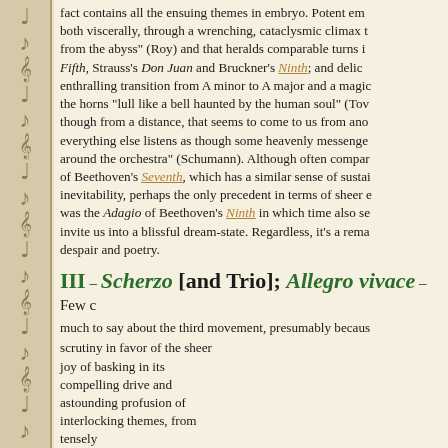fact contains all the ensuing themes in embryo. Potent em both viscerally, through a wrenching, cataclysmic climax t from the abyss" (Roy) and that heralds comparable turns i Fifth, Strauss's Don Juan and Bruckner's Ninth; and delic enthralling transition from A minor to A major and a magic the horns "lull like a bell haunted by the human soul" (To though from a distance, that seems to come to us from ano everything else listens as though some heavenly messenge around the orchestra" (Schumann). Although often compar of Beethoven's Seventh, which has a similar sense of sust inevitability, perhaps the only precedent in terms of sheer was the Adagio of Beethoven's Ninth in which time also s invite us into a blissful dream-state. Regardless, it's a re despair and poetry.
III – Scherzo [and Trio]; Allegro vivace – Few c
much to say about the third movement, presumably becaus scrutiny in favor of the sheer joy of basking in its compelling drive and astounding profusion of interlocking themes, from tensely gruff to soaringly lyrical – Tovey calls the trio "one of the
[Figure (other): Musical score excerpt showing two staves of notation for the Scherzo movement, with caption 'The gruff and lyrical themes of']